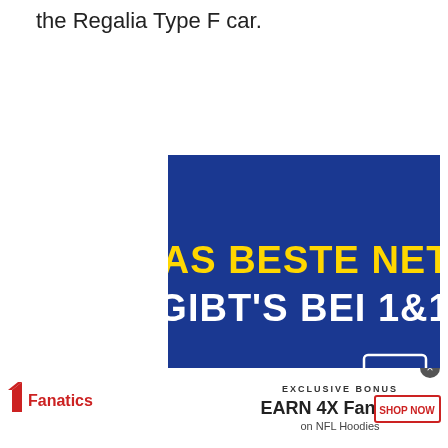the Regalia Type F car.
[Figure (illustration): Advertisement banner with dark blue background. Large yellow bold text reads 'DAS BESTE NETZ' and below it white bold text reads 'GIBT'S BEI 1&1'. In the bottom right corner is a white-bordered box with blue background containing white text '1&1' logo.]
[Figure (illustration): Partial dark blue advertisement banner (cropped at bottom of page).]
[Figure (illustration): Fanatics advertisement banner at the bottom of the page. Shows Fanatics logo on left, center text reads 'EXCLUSIVE BONUS EARN 4X FanCash on NFL Hoodies' with an image of a person in a hoodie jacket, and a red 'SHOP NOW' button on the right. A close/X button appears in the top right corner of the ad.]